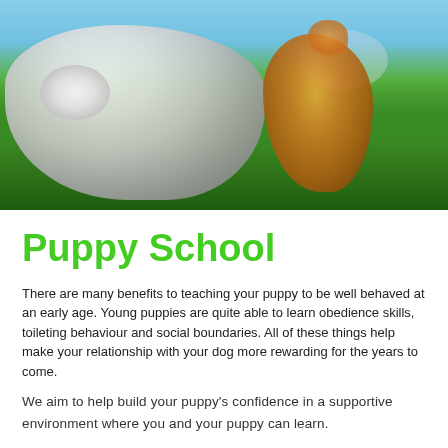[Figure (photo): A white fluffy dog and an orange kitten sitting together on green grass with a blue sky background]
Puppy School
There are many benefits to teaching your puppy to be well behaved at an early age. Young puppies are quite able to learn obedience skills, toileting behaviour and social boundaries. All of these things help make your relationship with your dog more rewarding for the years to come.
We aim to help build your puppy's confidence in a supportive environment where you and your puppy can learn.
At Aspendale Gardens Vet Hospital, we offer a fun puppy preschool